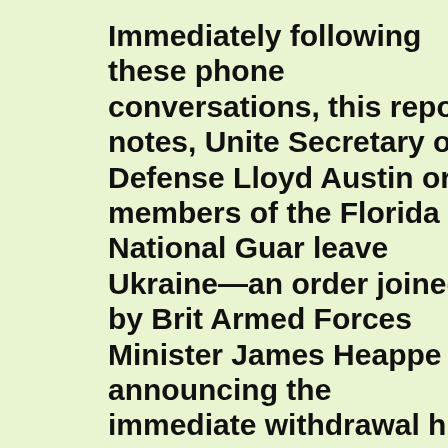Immediately following these phone conversations, this report notes, United Secretary of Defense Lloyd Austin ordered members of the Florida National Guard to leave Ukraine—an order joined by British Armed Forces Minister James Heappey announcing the immediate withdrawal of his countries troops from Ukraine—in response to this planned hysteria Tulsi Gabbard, an Iraq War veteran who ran unsuccessfully for the 2020 Democratic presidential nomination, grimly observed military-industrial complex is the one that benefits from this…They clearly control the Biden administration…Warmongers on all sides of Washington have been drum...